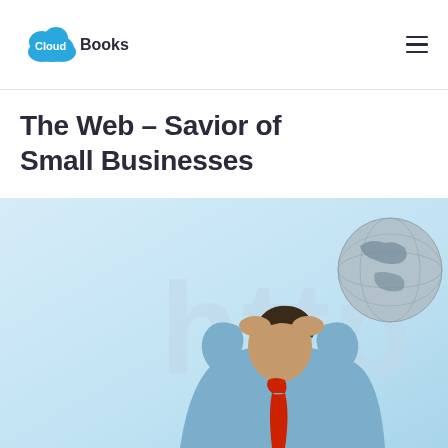CloudBooks
The Web – Savior of Small Businesses
[Figure (photo): Business person leaning back with hands behind head, in front of a light blue background with a globe and 'http' text watermark. Red tie visible.]